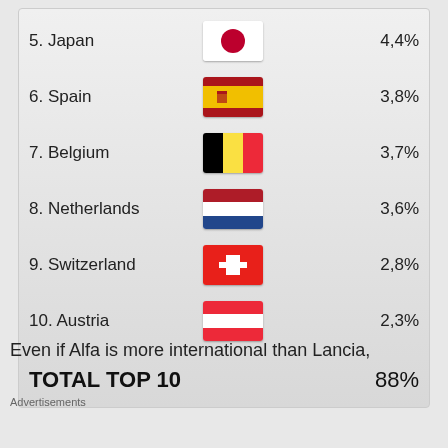5. Japan — 4,4%
6. Spain — 3,8%
7. Belgium — 3,7%
8. Netherlands — 3,6%
9. Switzerland — 2,8%
10. Austria — 2,3%
TOTAL TOP 10   88%
Even if Alfa is more international than Lancia,
Advertisements